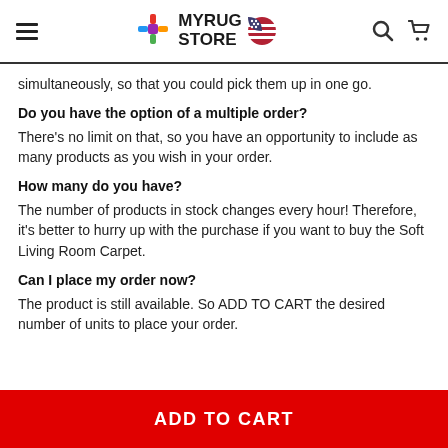MYRUG STORE
simultaneously, so that you could pick them up in one go.
Do you have the option of a multiple order?
There’s no limit on that, so you have an opportunity to include as many products as you wish in your order.
How many do you have?
The number of products in stock changes every hour! Therefore, it’s better to hurry up with the purchase if you want to buy the Soft Living Room Carpet.
Can I place my order now?
The product is still available. So ADD TO CART the desired number of units to place your order.
ADD TO CART